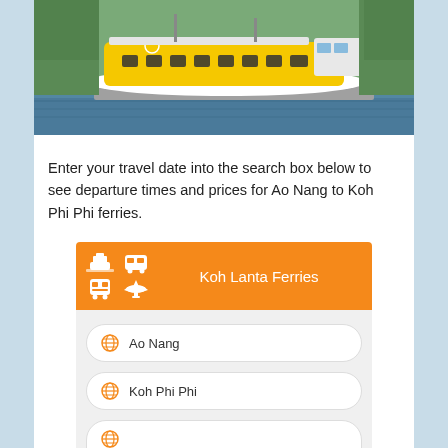[Figure (photo): Yellow high-speed ferry boat docked at a pier with mangrove trees in the background and calm water in the foreground]
Enter your travel date into the search box below to see departure times and prices for Ao Nang to Koh Phi Phi ferries.
[Figure (screenshot): Koh Lanta Ferries booking widget with transport icons (ferry, bus, train, plane) in orange header, and input fields for Ao Nang origin, Koh Phi Phi destination, and a partially visible third field]